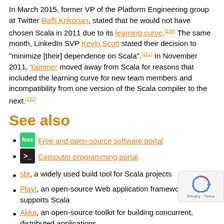In March 2015, former VP of the Platform Engineering group at Twitter Raffi Krikorian, stated that he would not have chosen Scala in 2011 due to its learning curve.[150] The same month, LinkedIn SVP Kevin Scott stated their decision to "minimize [their] dependence on Scala".[151] In November 2011, Yammer moved away from Scala for reasons that included the learning curve for new team members and incompatibility from one version of the Scala compiler to the next.[152]
See also
Free and open-source software portal
Computer programming portal
sbt, a widely used build tool for Scala projects
Play!, an open-source Web application framework that supports Scala
Akka, an open-source toolkit for building concurrent, distributed applications
Chisel, an open-source language built on Scala that is used